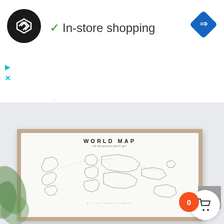[Figure (screenshot): Screenshot of a Google Maps business listing or similar app UI showing a logo circle with double-arrow icon, 'In-store shopping' text with green checkmark, a navigation diamond icon, a play and close button, an expand/collapse chevron button, a world map art print product image in a wooden frame titled 'WORLD MAP oh the places you'll go by Lust Planet Travel', a gray scroll-up button, a red cart badge showing '0', and a white cart icon button.]